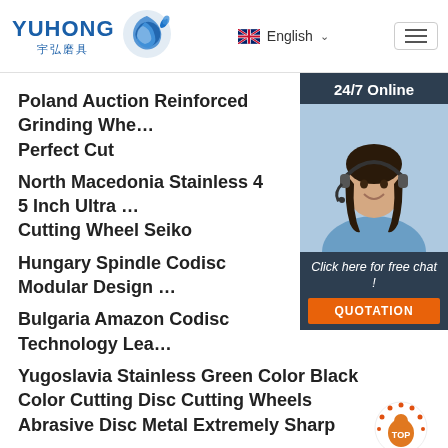YUHONG 宇弘磨具 | English
Poland Auction Reinforced Grinding Whe… Perfect Cut
North Macedonia Stainless 4 5 Inch Ultra … Cutting Wheel Seiko
Hungary Spindle Codisc Modular Design …
Bulgaria Amazon Codisc Technology Lea…
Yugoslavia Stainless Green Color Black Color Cutting Disc Cutting Wheels Abrasive Disc Metal Extremely Sharp
[Figure (photo): 24/7 Online chat widget with a customer service representative wearing a headset, and a QUOTATION button]